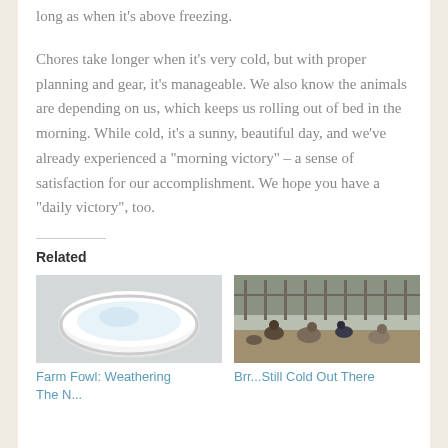long as when it's above freezing.
Chores take longer when it's very cold, but with proper planning and gear, it's manageable. We also know the animals are depending on us, which keeps us rolling out of bed in the morning. While cold, it's a sunny, beautiful day, and we've already experienced a "morning victory" – a sense of satisfaction for our accomplishment. We hope you have a "daily victory", too.
Related
[Figure (photo): A white bowl or dish containing water with ice or a frozen surface]
[Figure (photo): Chickens and farm fowl gathered outdoors in a dirt yard area]
Farm Fowl: Weathering The N...
Brr...Still Cold Out There